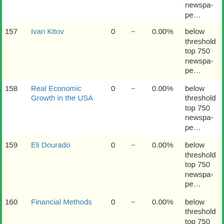| # | Name | Mentions | Change | Share | Notes |
| --- | --- | --- | --- | --- | --- |
| 157 | Ivan Kitov | 0 | − | 0.00% | below threshold top 750 newspapers |
| 158 | Real Economic Growth in the USA | 0 | − | 0.00% | below threshold top 750 newspapers |
| 159 | Eli Dourado | 0 | − | 0.00% | below threshold top 750 newspapers |
| 160 | Financial Methods | 0 | − | 0.00% | below threshold top 750 newspapers |
| 161 | Indian Economy | 0 | − | 0.00% | below threshold top 750 newspapers |
| 162 | Agoraphilia | 0 | − | 0.00% | below threshold top 750 |